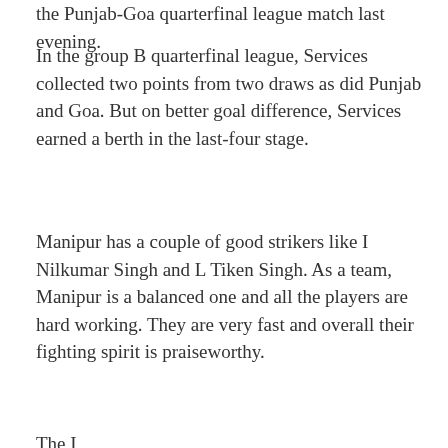the Punjab-Goa quarterfinal league match last evening.
In the group B quarterfinal league, Services collected two points from two draws as did Punjab and Goa. But on better goal difference, Services earned a berth in the last-four stage.
Manipur has a couple of good strikers like I Nilkumar Singh and L Tiken Singh. As a team, Manipur is a balanced one and all the players are hard working. They are very fast and overall their fighting spirit is praiseworthy.
The I...